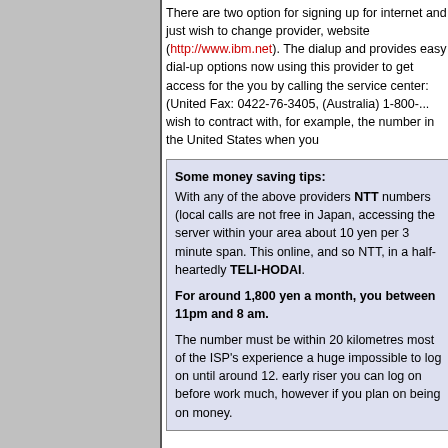There are two option for signing up fo... internet and just wish to change provi... website (http://www.ibm.net). The dial... and provides easy dial-up options no... using this provider to get access for th... you by calling the service center: (Uni... Fax: 0422-76-3405, (Australia) 1-800-... wish to contract with, for example, the... number in the United States when yo...
Some money saving tips: With any of the above providers NTT... numbers (local calls are not free in Ja... accessing the server within your area... about 10 yen per 3 minute span. This... online, and so NTT, in a half-hearted... TELI-HODAI. For around 1,800 yen a month, you... between 11pm and 8 am. The number must be within 20 kilome... most of the ISP's experience a huge... impossible to log on until around 12.... early riser you can log on before wor... much, however if you plan on being o... money.